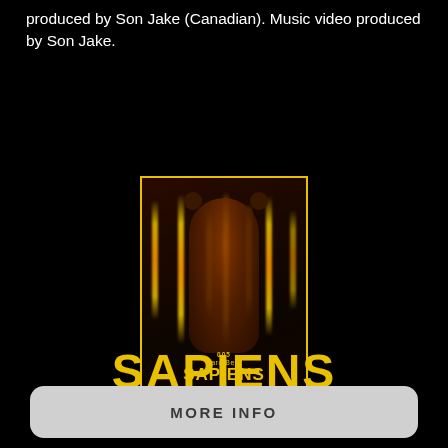produced by Son Jake (Canadian). Music video produced by Son Jake.
[Figure (photo): Movie/music video poster for 'Sapiens' by Faro Beat, featuring a figure in a bear hoodie surrounded by glowing vertical amber/yellow light bars on a dark background. Yellow border. Text includes '005', 'Faro Beat', 'SAPIENS', directed by Francisco Palacios Reyes, with cast credits at bottom.]
SAPIENS
MORE INFO